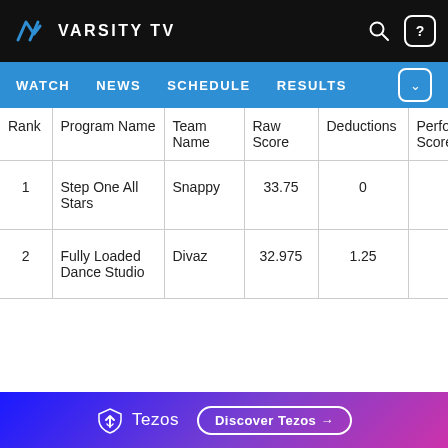VARSITY TV
WATCH NEWS SCHEDULE RESULTS
| Rank | Program Name | Team Name | Raw Score | Deductions | Perfo Score |
| --- | --- | --- | --- | --- | --- |
| 1 | Step One All Stars | Snappy | 33.75 | 0 |  |
| 2 | Fully Loaded Dance Studio | Divaz | 32.975 | 1.25 |  |
[Figure (logo): Tezos advertisement banner with 'Discover Tezos' button]